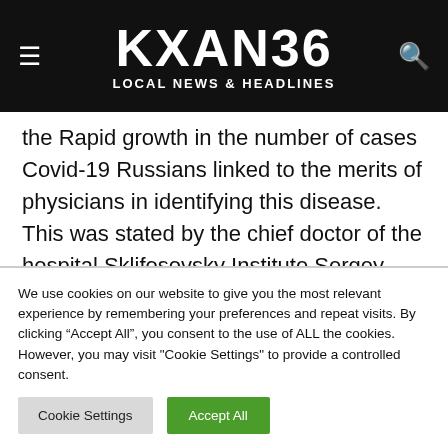KXAN36 LOCAL NEWS & HEADLINES
the Rapid growth in the number of cases Covid-19 Russians linked to the merits of physicians in identifying this disease. This was stated by the chief doctor of the hospital Sklifosovsky Institute Sergey Petrikov in the program ‘60 minutes” on TV channel “Russia 1”.
We use cookies on our website to give you the most relevant experience by remembering your preferences and repeat visits. By clicking “Accept All”, you consent to the use of ALL the cookies. However, you may visit "Cookie Settings" to provide a controlled consent.